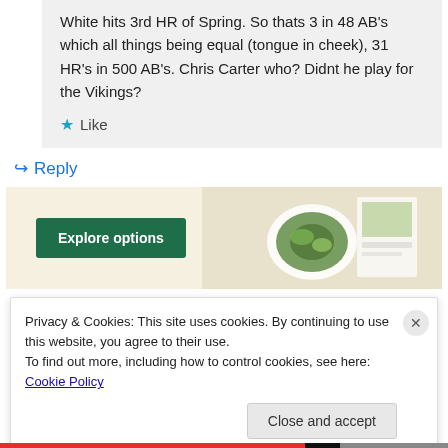White hits 3rd HR of Spring. So thats 3 in 48 AB's which all things being equal (tongue in cheek), 31 HR's in 500 AB's. Chris Carter who? Didnt he play for the Vikings?
★ Like
↪ Reply
[Figure (screenshot): Advertisement banner with green 'Explore options' button on a beige background with food/recipe images on the right side]
Privacy & Cookies: This site uses cookies. By continuing to use this website, you agree to their use.
To find out more, including how to control cookies, see here: Cookie Policy
Close and accept